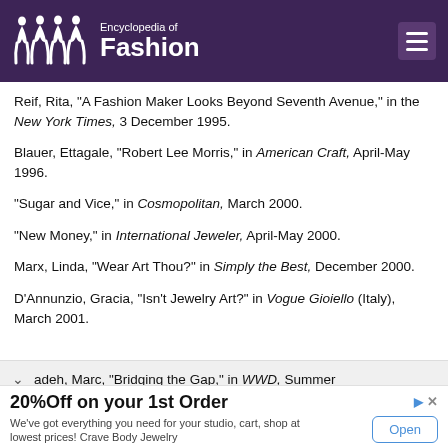Encyclopedia of Fashion
Reif, Rita, "A Fashion Maker Looks Beyond Seventh Avenue," in the New York Times, 3 December 1995.
Blauer, Ettagale, "Robert Lee Morris," in American Craft, April-May 1996.
"Sugar and Vice," in Cosmopolitan, March 2000.
"New Money," in International Jeweler, April-May 2000.
Marx, Linda, "Wear Art Thou?" in Simply the Best, December 2000.
D'Annunzio, Gracia, "Isn't Jewelry Art?" in Vogue Gioiello (Italy), March 2001.
adeh, Marc, "Bridging the Gap," in WWD, Summer
20%Off on your 1st Order
We've got everything you need for your studio, cart, shop at lowest prices! Crave Body Jewelry